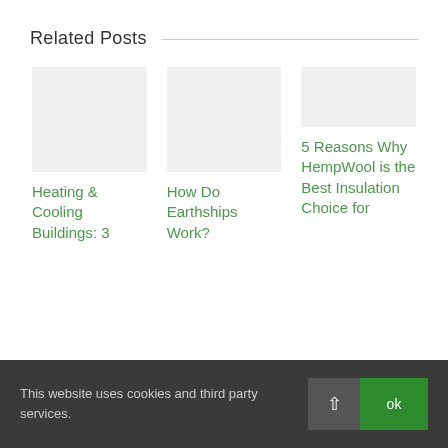Related Posts
Heating & Cooling Buildings: 3
How Do Earthships Work?
5 Reasons Why HempWool is the Best Insulation Choice for
This website uses cookies and third party services.